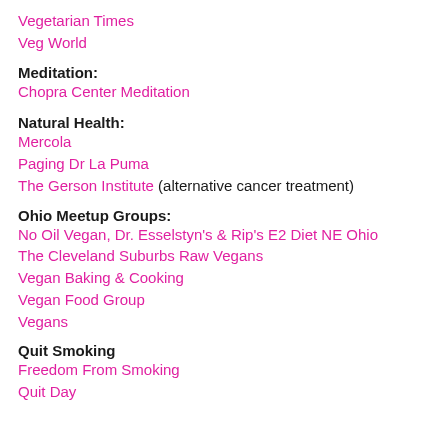Vegetarian Times
Veg World
Meditation:
Chopra Center Meditation
Natural Health:
Mercola
Paging Dr La Puma
The Gerson Institute (alternative cancer treatment)
Ohio Meetup Groups:
No Oil Vegan, Dr. Esselstyn's & Rip's E2 Diet NE Ohio
The Cleveland Suburbs Raw Vegans
Vegan Baking & Cooking
Vegan Food Group
Vegans
Quit Smoking
Freedom From Smoking
Quit Day